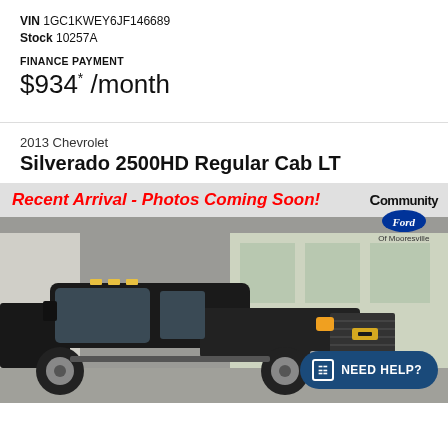VIN 1GC1KWEY6JF146689
Stock 10257A
FINANCE PAYMENT
$934* /month
2013 Chevrolet
Silverado 2500HD Regular Cab LT
[Figure (photo): Photo of a black 2013 Chevrolet Silverado 2500HD Regular Cab LT parked outside a dealership. A red italic banner at the top reads 'Recent Arrival - Photos Coming Soon!' and a Community Ford of Mooresville dealer logo appears in the top right. A 'Need Help?' chat button appears in the bottom right corner.]